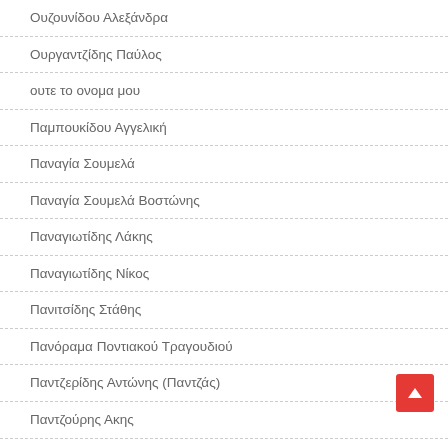Ουζουνίδου Αλεξάνδρα
Ουργαντζίδης Παύλος
ουτε το ονομα μου
Παμπουκίδου Αγγελική
Παναγία Σουμελά
Παναγία Σουμελά Βοστώνης
Παναγιωτίδης Λάκης
Παναγιωτίδης Νίκος
Πανιτσίδης Στάθης
Πανόραμα Ποντιακού Τραγουδιού
Παντζερίδης Αντώνης (Παντζάς)
Παντζούρης Ακης